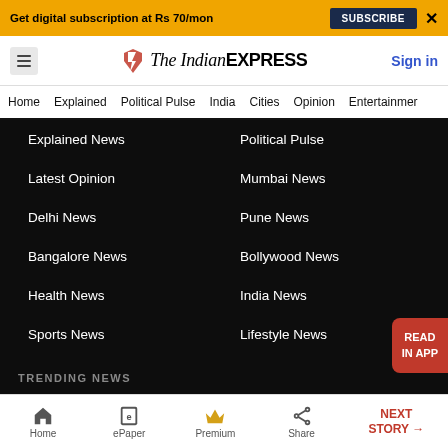Get digital subscription at Rs 70/mon | SUBSCRIBE | X
[Figure (logo): The Indian Express logo with red chevron icon]
Sign in
Home  Explained  Political Pulse  India  Cities  Opinion  Entertainment
Explained News
Political Pulse
Latest Opinion
Mumbai News
Delhi News
Pune News
Bangalore News
Bollywood News
Health News
India News
Sports News
Lifestyle News
TRENDING NEWS
Home  ePaper  Premium  Share  NEXT STORY →